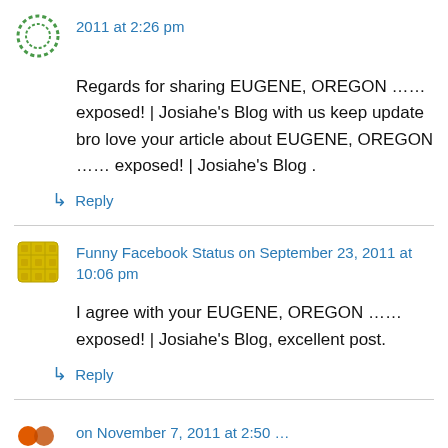2011 at 2:26 pm
Regards for sharing EUGENE, OREGON …… exposed! | Josiahe's Blog with us keep update bro love your article about EUGENE, OREGON …… exposed! | Josiahe's Blog .
↳ Reply
Funny Facebook Status on September 23, 2011 at 10:06 pm
I agree with your EUGENE, OREGON …… exposed! | Josiahe's Blog, excellent post.
↳ Reply